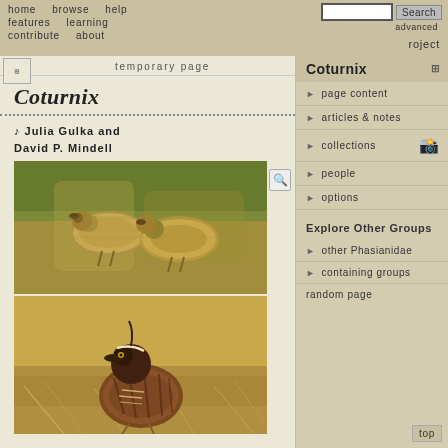home   browse   help   features   learning   contribute   about   Search   advanced
roject
temporary page
Coturnix
Julia Gulka and David P. Mindell
[Figure (photo): Two quail birds running side by side, motion-blurred background of green and golden grass]
[Figure (photo): A single quail bird standing on dry grass/straw, brown and black patterned plumage]
Coturnix
page content
articles & notes
collections
people
options
Explore Other Groups
other Phasianidae
containing groups
random page
top